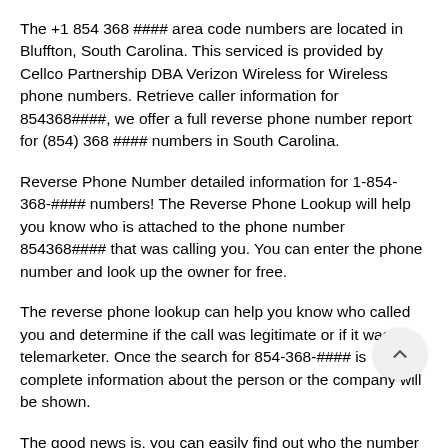The +1 854 368 #### area code numbers are located in Bluffton, South Carolina. This serviced is provided by Cellco Partnership DBA Verizon Wireless for Wireless phone numbers. Retrieve caller information for 854368####, we offer a full reverse phone number report for (854) 368 #### numbers in South Carolina.
Reverse Phone Number detailed information for 1-854-368-#### numbers! The Reverse Phone Lookup will help you know who is attached to the phone number 854368#### that was calling you. You can enter the phone number and look up the owner for free.
The reverse phone lookup can help you know who called you and determine if the call was legitimate or if it was a telemarketer. Once the search for 854-368-#### is complete information about the person or the company will be shown.
The good news is, you can easily find out who the number 854-368-#### belongs to and much more.
Should you get a call from phone number 854-368-#### / 854368####. All you have to do is search the number on this page. As a result, you will get to find out more details about the phone